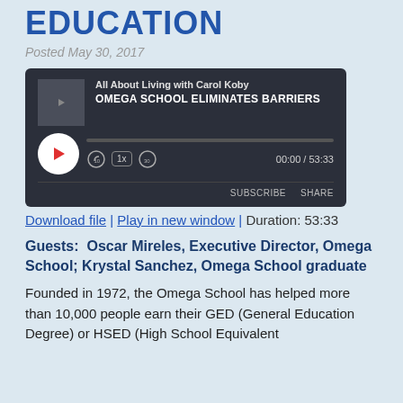EDUCATION
Posted May 30, 2017
[Figure (other): Podcast player widget for 'All About Living with Carol Koby' episode 'OMEGA SCHOOL ELIMINATES BARRIERS', duration 53:33, with play button, progress bar, subscribe and share buttons]
Download file | Play in new window | Duration: 53:33
Guests:  Oscar Mireles, Executive Director, Omega School; Krystal Sanchez, Omega School graduate
Founded in 1972, the Omega School has helped more than 10,000 people earn their GED (General Education Degree) or HSED (High School Equivalent